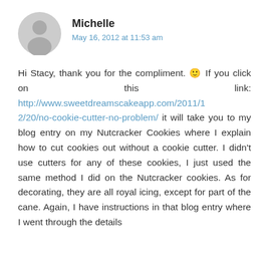[Figure (illustration): Gray circular user avatar icon with silhouette of a person]
Michelle
May 16, 2012 at 11:53 am
Hi Stacy, thank you for the compliment. 🙂 If you click on this link: http://www.sweetdreamscakeapp.com/2011/12/20/no-cookie-cutter-no-problem/ it will take you to my blog entry on my Nutcracker Cookies where I explain how to cut cookies out without a cookie cutter. I didn't use cutters for any of these cookies, I just used the same method I did on the Nutcracker cookies. As for decorating, they are all royal icing, except for part of the cane. Again, I have instructions in that blog entry where I went through the details